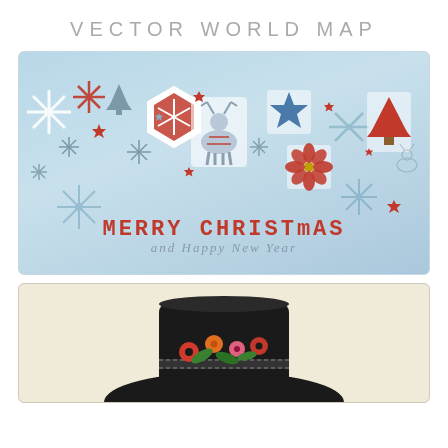VECTOR WORLD MAP
[Figure (illustration): Christmas greeting card with light blue background featuring snowflakes, stars, reindeer, Christmas tree, and holiday decorations in red and grey/blue tones. Text reads 'MERRY CHRISTMAS and Happy New Year']
[Figure (illustration): Beige/cream background card showing a black top hat decorated with colorful flowers (red poppies, orange and other flowers) and green leaves, partially cropped at bottom]